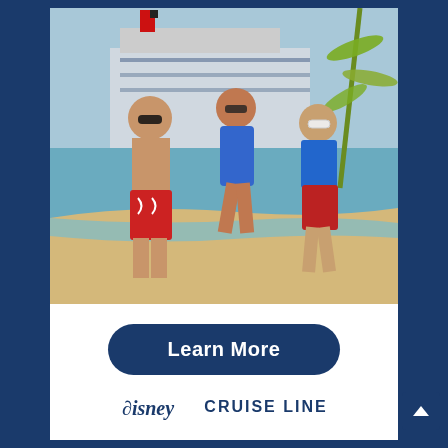[Figure (photo): A family of three — a man in red floral swim trunks, a woman in a blue one-piece swimsuit, and a boy in a blue rash guard and red shorts — running playfully on a sandy beach with a Disney cruise ship visible in the background.]
Learn More
Disney CRUISE LINE